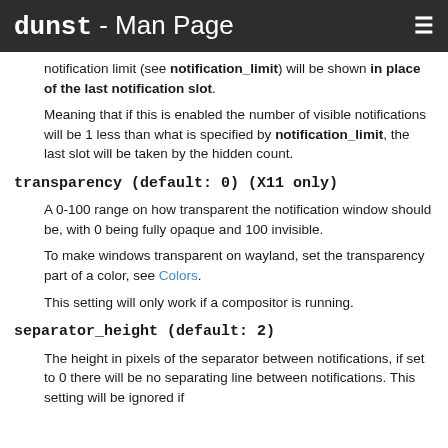dunst - Man Page
notification limit (see notification_limit) will be shown in place of the last notification slot.
Meaning that if this is enabled the number of visible notifications will be 1 less than what is specified by notification_limit, the last slot will be taken by the hidden count.
transparency (default: 0) (X11 only)
A 0-100 range on how transparent the notification window should be, with 0 being fully opaque and 100 invisible.
To make windows transparent on wayland, set the transparency part of a color, see Colors.
This setting will only work if a compositor is running.
separator_height (default: 2)
The height in pixels of the separator between notifications, if set to 0 there will be no separating line between notifications. This setting will be ignored if